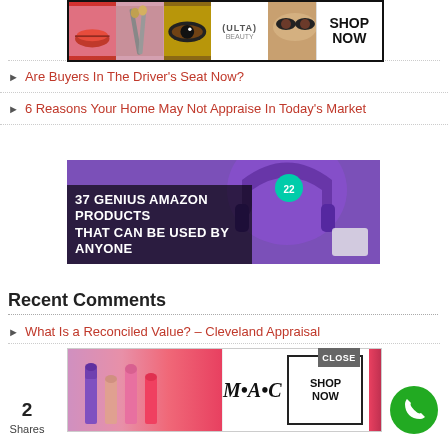[Figure (screenshot): Ulta beauty advertisement banner with makeup images and SHOP NOW button]
Are Buyers In The Driver's Seat Now?
6 Reasons Your Home May Not Appraise In Today's Market
[Figure (screenshot): 37 Genius Amazon Products That Can Be Used By Anyone - advertisement with purple headphones]
Recent Comments
What Is a Reconciled Value? – Cleveland Appraisal
[Figure (screenshot): MAC cosmetics advertisement with lipsticks and SHOP NOW button]
2 Shares